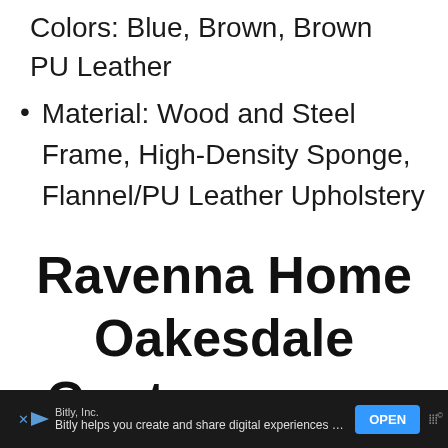Colors: Blue, Brown, Brown PU Leather
Material: Wood and Steel Frame, High-Density Sponge, Flannel/PU Leather Upholstery
Ravenna Home Oakesdale Contemporary
Bitly, Inc. Bitly helps you create and share digital experiences with custom QR Codes. OPEN